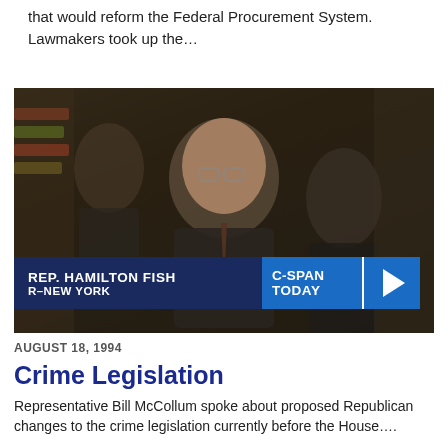that would reform the Federal Procurement System. Lawmakers took up the…
[Figure (photo): Video still of Rep. Hamilton Fish (R-New York) speaking at a podium with C-SPAN Today lower-third graphic overlay and a play button.]
AUGUST 18, 1994
Crime Legislation
Representative Bill McCollum spoke about proposed Republican changes to the crime legislation currently before the House….